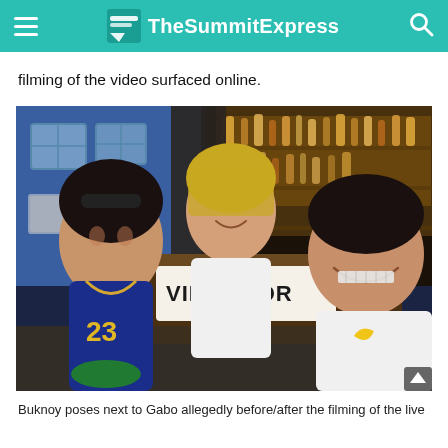TheSummitExpress
filming of the video surfaced online.
[Figure (photo): Three people posing for a selfie inside what appears to be a bar or restaurant. The person on the left wears a blue Lakers jersey with number 23 and has sunglasses on their head. The person in the middle has blonde hair and wears a white shirt. The person on the right is smiling widely showing braces and appears to be taking the selfie. Behind them is a bar counter with a sign reading 'VILLA HOR...' and shelves with bottles lit with warm lighting.]
Buknoy poses next to Gabo allegedly before/after the filming of the live